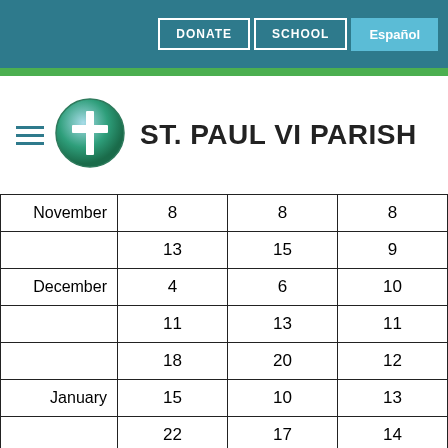DONATE | SCHOOL | Español
[Figure (logo): St. Paul VI Parish logo: green circle with white cross]
ST. PAUL VI PARISH
| Month | Col1 | Col2 | Col3 |
| --- | --- | --- | --- |
| November | 8 | 8 | 8 |
|  | 13 | 15 | 9 |
| December | 4 | 6 | 10 |
|  | 11 | 13 | 11 |
|  | 18 | 20 | 12 |
| January | 15 | 10 | 13 |
|  | 22 | 17 | 14 |
|  | 29 | 24 | 15 |
| February | 5 | 31 | 16 |
|  | 12 | 7 | 17 |
|  | 26 | 21 | 18 |